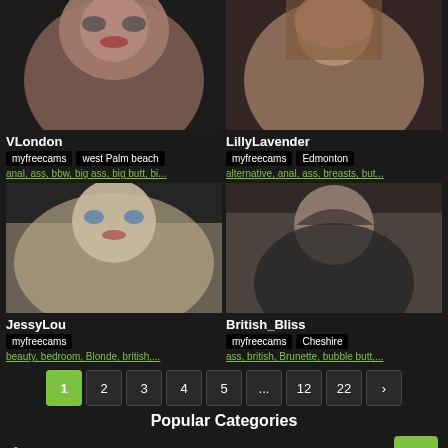[Figure (photo): Top-left profile photo of VLondon, woman with glasses and red lips]
VLondon
myfreecams  west Palm beach
anal, ass, bbw, big ass, big butt, bi...
[Figure (photo): Top-right profile photo of LillyLavender, woman with long brown hair]
LillyLavender
myfreecams  Edmonton
alternative, anal, ass, breasts, but...
[Figure (photo): Bottom-left profile photo of JessyLou, blonde woman with blue eyes]
JessyLou
myfreecams
beauty, bedroom, Blonde, british,...
[Figure (photo): Bottom-right profile photo of British_Bliss, woman with curly hair]
British_Bliss
myfreecams  Cheshire
ass, british, Brunette, bubble butt,...
1 2 3 4 5 ... 12 22 >
Popular Categories
A